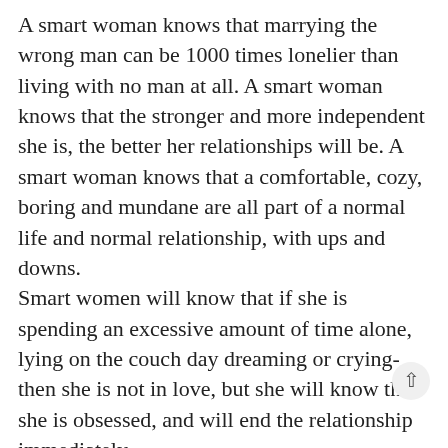A smart woman knows that marrying the wrong man can be 1000 times lonelier than living with no man at all. A smart woman knows that the stronger and more independent she is, the better her relationships will be. A smart woman knows that a comfortable, cozy, boring and mundane are all part of a normal life and normal relationship, with ups and downs.
Smart women will know that if she is spending an excessive amount of time alone, lying on the couch day dreaming or crying- then she is not in love, but she will know that she is obsessed, and will end the relationship immediately.
A smart woman knows that: She does not have to prove herself worthy. She does not have to prove she is smart. She does not have to prove that she is a good person to anyone. She does not have to prove that she is supportive.